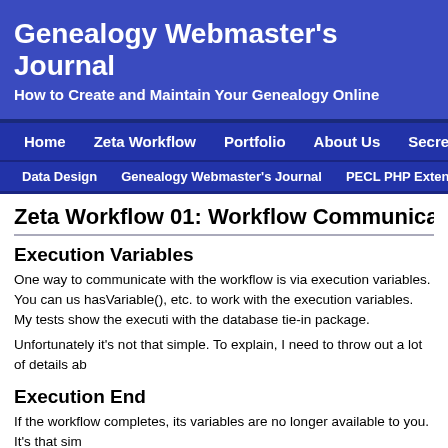Genealogy Webmaster's Journal
How to Create and Maintain Your Genealogy Online
Home  Zeta Workflow  Portfolio  About Us  Secrets  Ho
Data Design  Genealogy Webmaster's Journal  PECL PHP Extensions
Zeta Workflow 01: Workflow Communicatio
Execution Variables
One way to communicate with the workflow is via execution variables. You can us hasVariable(), etc. to work with the execution variables. My tests show the executi with the database tie-in package.
Unfortunately it's not that simple. To explain, I need to throw out a lot of details ab
Execution End
If the workflow completes, its variables are no longer available to you. It's that sim
Well, no, it's not quite that simple. Here's how it actually works.